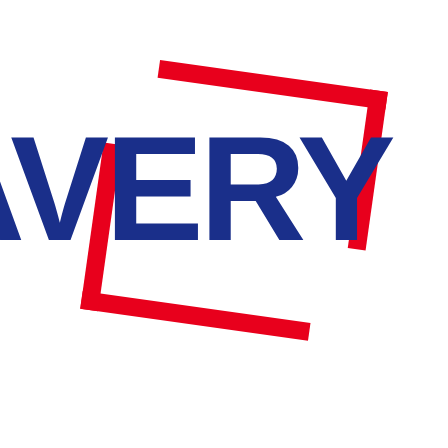[Figure (logo): Avery logo: bold dark blue text 'AVERY' (partially cropped on right) with two overlapping red rectangular bracket/corner frames — one tilted upper-right and one tilted lower-left — forming a dynamic geometric badge behind the text.]